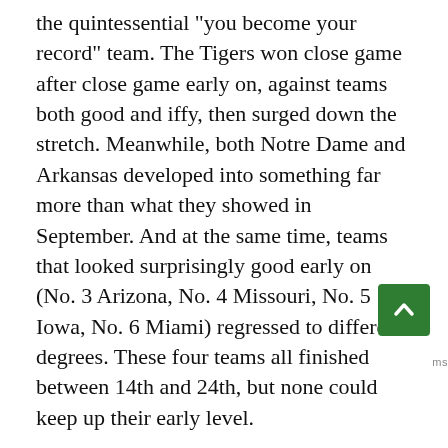the quintessential "you become your record" team. The Tigers won close game after close game early on, against teams both good and iffy, then surged down the stretch. Meanwhile, both Notre Dame and Arkansas developed into something far more than what they showed in September. And at the same time, teams that looked surprisingly good early on (No. 3 Arizona, No. 4 Missouri, No. 5 Iowa, No. 6 Miami) regressed to different degrees. These four teams all finished between 14th and 24th, but none could keep up their early level.
So what have we learned? That your five-week rating is more likely to be telling than not, but that teams do still change. If Baylor's strange rating is simply a product of fluky field-position issues, and the Bears are destined to play like a top-10 team, then the odds are good that they'll eventually grade out as such. Or they finish 8-4 this year and I